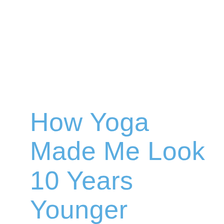How Yoga Made Me Look 10 Years Younger